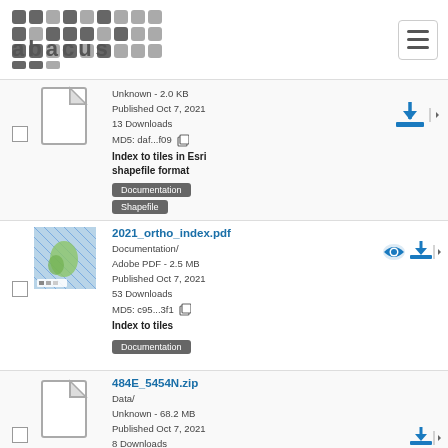[Figure (logo): Abacus logo - grid of squares forming the word 'abacus']
Unknown - 2.0 KB
Published Oct 7, 2021
13 Downloads
MD5: daf...f09
Index to tiles in Esri shapefile format
[Documentation] [Shapefile]
2021_ortho_index.pdf
Documentation/
Adobe PDF - 2.5 MB
Published Oct 7, 2021
53 Downloads
MD5: c95...3f1
Index to tiles
[Documentation]
484E_5454N.zip
Data/
Unknown - 68.2 MB
Published Oct 7, 2021
8 Downloads
MD5: 6a2...935